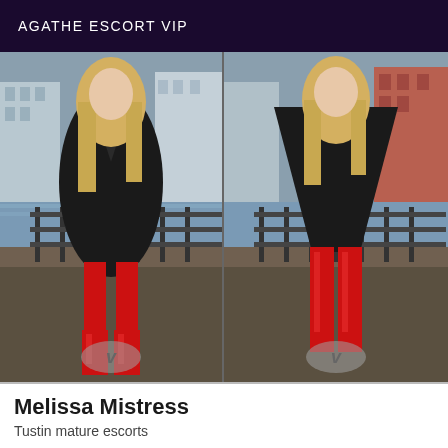AGATHE ESCORT VIP
[Figure (photo): Two side-by-side photos of a blonde woman wearing a black fur coat and red patent leather thigh-high boots, posing by a railing near a waterway. Left photo shows her in the coat closed; right photo shows her wearing a red corset/bustier underneath with the coat open. Both photos have a 'V' watermark at the bottom center.]
Melissa Mistress
Tustin mature escorts